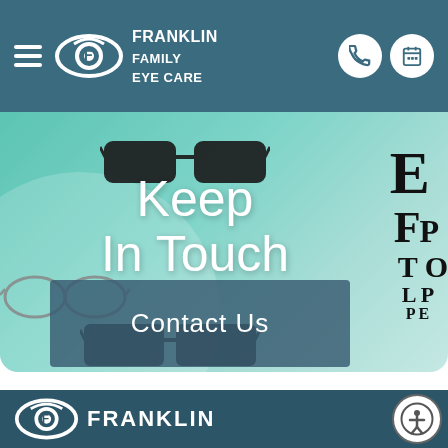Franklin Family Eye Care
[Figure (screenshot): Hero section with teal background showing eyeglasses and eye chart on right side, with 'Keep In Touch' text overlay and 'Contact Us' button]
Keep
In Touch
Contact Us
Franklin
[Figure (illustration): Accessibility icon button (person with circle) in bottom right corner]